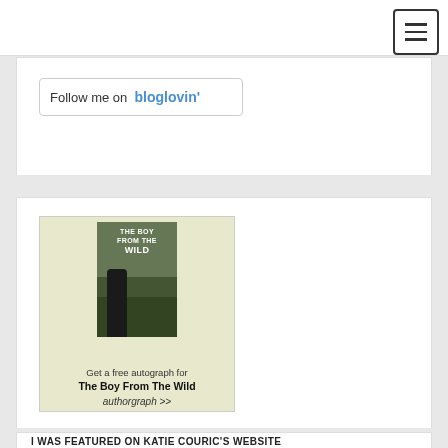[Figure (screenshot): Hamburger menu button (three horizontal lines) in top right corner]
[Figure (screenshot): Follow me on bloglovin' button with blue bloglovin' text]
[Figure (illustration): Autograph ad for The Boy From The Wild book showing book cover with dark silhouette and forest scene, text reads: Get a free autograph for The Boy From The Wild, authorgraph >>]
I WAS FEATURED ON KATIE COURIC'S WEBSITE